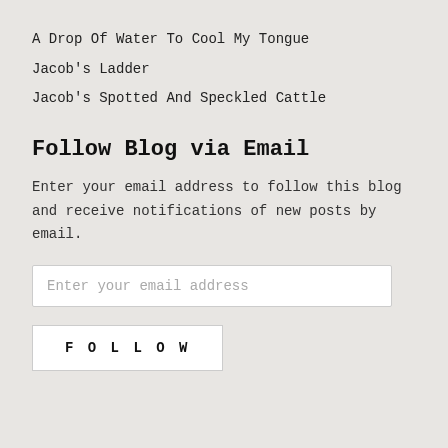A Drop Of Water To Cool My Tongue
Jacob's Ladder
Jacob's Spotted And Speckled Cattle
Follow Blog via Email
Enter your email address to follow this blog and receive notifications of new posts by email.
Enter your email address
FOLLOW